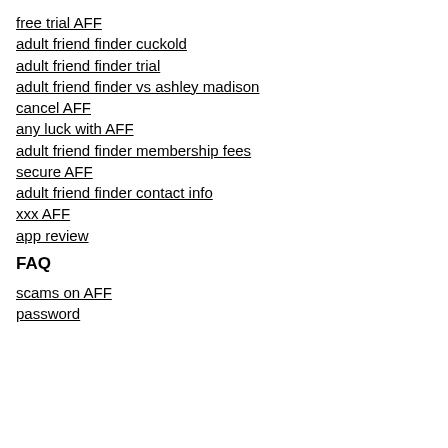free trial AFF
adult friend finder cuckold
adult friend finder trial
adult friend finder vs ashley madison
cancel AFF
any luck with AFF
adult friend finder membership fees
secure AFF
adult friend finder contact info
xxx AFF
app review
FAQ
scams on AFF
password